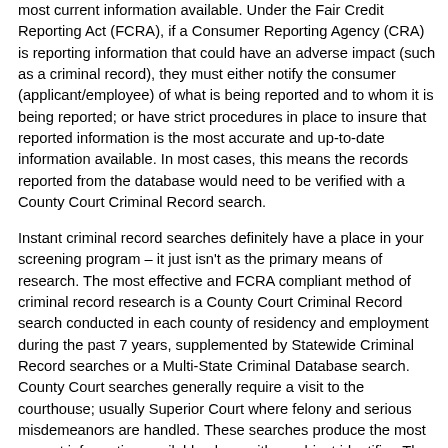most current information available. Under the Fair Credit Reporting Act (FCRA), if a Consumer Reporting Agency (CRA) is reporting information that could have an adverse impact (such as a criminal record), they must either notify the consumer (applicant/employee) of what is being reported and to whom it is being reported; or have strict procedures in place to insure that reported information is the most accurate and up-to-date information available. In most cases, this means the records reported from the database would need to be verified with a County Court Criminal Record search.
Instant criminal record searches definitely have a place in your screening program – it just isn't as the primary means of research. The most effective and FCRA compliant method of criminal record research is a County Court Criminal Record search conducted in each county of residency and employment during the past 7 years, supplemented by Statewide Criminal Record searches or a Multi-State Criminal Database search. County Court searches generally require a visit to the courthouse; usually Superior Court where felony and serious misdemeanors are handled. These searches produce the most current information available along with a subject identifier. The Statewide and Multi-